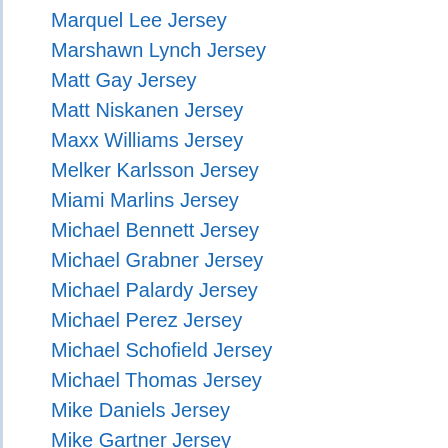Marquel Lee Jersey
Marshawn Lynch Jersey
Matt Gay Jersey
Matt Niskanen Jersey
Maxx Williams Jersey
Melker Karlsson Jersey
Miami Marlins Jersey
Michael Bennett Jersey
Michael Grabner Jersey
Michael Palardy Jersey
Michael Perez Jersey
Michael Schofield Jersey
Michael Thomas Jersey
Mike Daniels Jersey
Mike Gartner Jersey
Mike Gillislee Jersey
Mike Hull Jersey